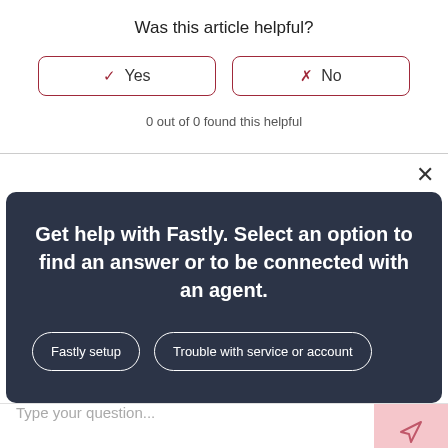Was this article helpful?
✓ Yes    ✗ No
0 out of 0 found this helpful
×
Get help with Fastly. Select an option to find an answer or to be connected with an agent.
Fastly setup
Trouble with service or account
Type your question...